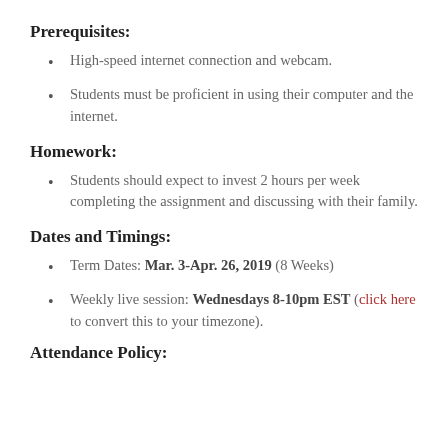Prerequisites:
High-speed internet connection and webcam.
Students must be proficient in using their computer and the internet.
Homework:
Students should expect to invest 2 hours per week completing the assignment and discussing with their family.
Dates and Timings:
Term Dates: Mar. 3-Apr. 26, 2019 (8 Weeks)
Weekly live session: Wednesdays 8-10pm EST (click here to convert this to your timezone).
Attendance Policy: